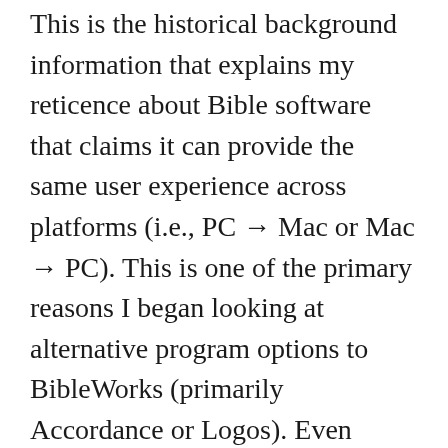This is the historical background information that explains my reticence about Bible software that claims it can provide the same user experience across platforms (i.e., PC → Mac or Mac → PC). This is one of the primary reasons I began looking at alternative program options to BibleWorks (primarily Accordance or Logos). Even when the BibleWorks team started talking about Mac options (a few versions ago), I remained skeptical. I didn't want to have to have so many workarounds if I didn't have to.
All this to say that I'm pleasantly surprised by